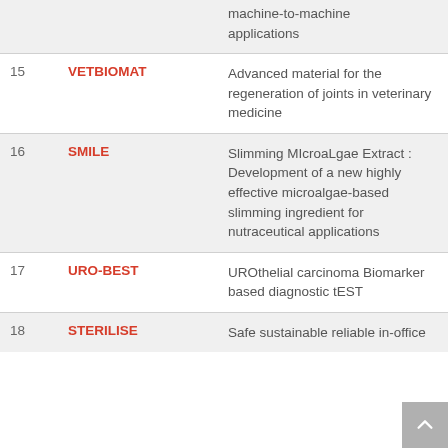| # | Project | Description |
| --- | --- | --- |
|  |  | machine-to-machine applications |
| 15 | VETBIOMAT | Advanced material for the regeneration of joints in veterinary medicine |
| 16 | SMILE | Slimming MIcroaLgae Extract : Development of a new highly effective microalgae-based slimming ingredient for nutraceutical applications |
| 17 | URO-BEST | UROthelial carcinoma Biomarker based diagnostic tEST |
| 18 | STERILISE | Safe sustainable reliable in-office... |